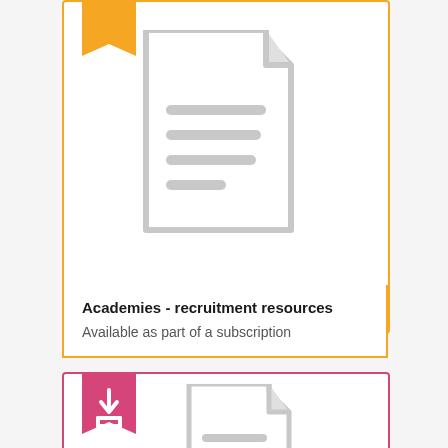[Figure (illustration): Card with gold bookmark ribbon, document icon (gray document with lines), title 'Academies - recruitment resources', subtitle 'Available as part of a subscription']
Academies - recruitment resources
Available as part of a subscription
[Figure (illustration): Card with pink bookmark ribbon containing download arrow icon, and a partial document icon visible at bottom]